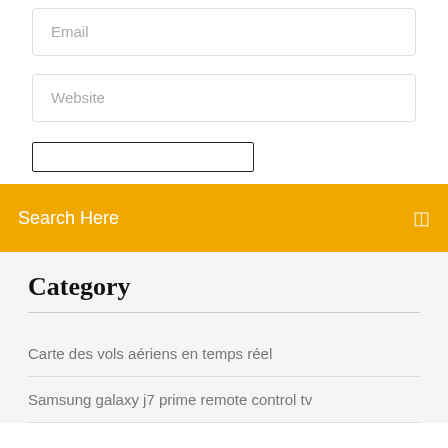Email
Website
Search Here
Category
Carte des vols aériens en temps réel
Samsung galaxy j7 prime remote control tv